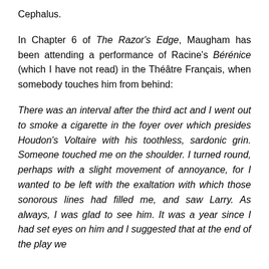Cephalus.
In Chapter 6 of The Razor's Edge, Maugham has been attending a performance of Racine's Bérénice (which I have not read) in the Théâtre Français, when somebody touches him from behind:
There was an interval after the third act and I went out to smoke a cigarette in the foyer over which presides Houdon's Voltaire with his toothless, sardonic grin. Someone touched me on the shoulder. I turned round, perhaps with a slight movement of annoyance, for I wanted to be left with the exaltation with which those sonorous lines had filled me, and saw Larry. As always, I was glad to see him. It was a year since I had set eyes on him and I suggested that at the end of the play we